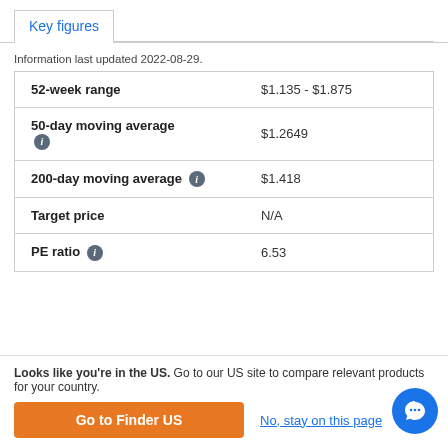Key figures
Information last updated 2022-08-29.
|  |  |
| --- | --- |
| 52-week range | $1.135 - $1.875 |
| 50-day moving average | $1.2649 |
| 200-day moving average | $1.418 |
| Target price | N/A |
| PE ratio | 6.53 |
Looks like you're in the US. Go to our US site to compare relevant products for your country.
Go to Finder US
No, stay on this page